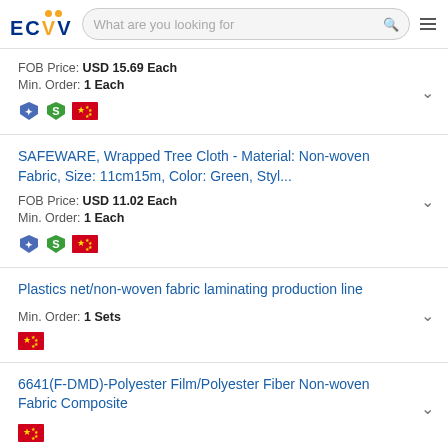ECVV - What are you looking for
FOB Price: USD 15.69 Each
Min. Order: 1 Each
SAFEWARE, Wrapped Tree Cloth - Material: Non-woven Fabric, Size: 11cm15m, Color: Green, Styl...
FOB Price: USD 11.02 Each
Min. Order: 1 Each
Plastics net/non-woven fabric laminating production line
Min. Order: 1 Sets
6641(F-DMD)-Polyester Film/Polyester Fiber Non-woven Fabric Composite